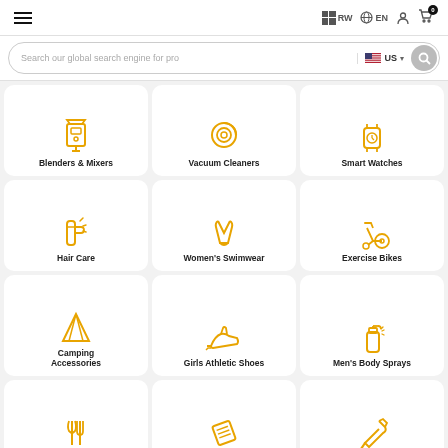RW EN (navigation header with hamburger menu, language selector, and cart)
Search our global search engine for pro  US
[Figure (illustration): Blenders & Mixers icon - yellow outline blender]
Blenders & Mixers
[Figure (illustration): Vacuum Cleaners icon - yellow outline power button/robot vacuum]
Vacuum Cleaners
[Figure (illustration): Smart Watches icon - yellow outline smartwatch]
Smart Watches
[Figure (illustration): Hair Care icon - yellow outline hair care products]
Hair Care
[Figure (illustration): Women's Swimwear icon - yellow outline swimsuit]
Women's Swimwear
[Figure (illustration): Exercise Bikes icon - yellow outline stationary bike]
Exercise Bikes
[Figure (illustration): Camping Accessories icon - yellow outline tent]
Camping Accessories
[Figure (illustration): Girls Athletic Shoes icon - yellow outline running shoe]
Girls Athletic Shoes
[Figure (illustration): Men's Body Sprays icon - yellow outline spray bottle]
Men's Body Sprays
[Figure (illustration): Dinnerware icon - yellow outline fork and spoon]
Dinnerware
[Figure (illustration): LED Strip Lights icon - yellow outline strip lights]
LED Strip Lights
[Figure (illustration): Gardening Hand icon - yellow outline shovel/spade]
Gardening Hand